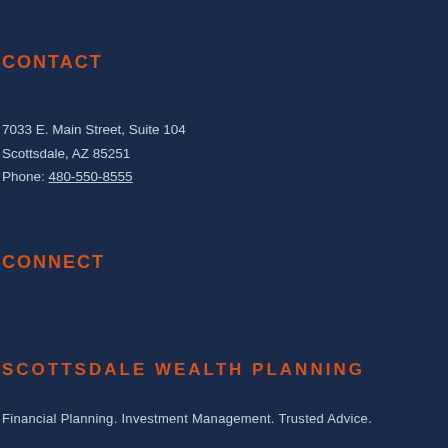CONTACT
7033 E. Main Street, Suite 104
Scottsdale, AZ 85251
Phone: 480-550-8555
CONNECT
SCOTTSDALE WEALTH PLANNING
Financial Planning. Investment Management. Trusted Advice.